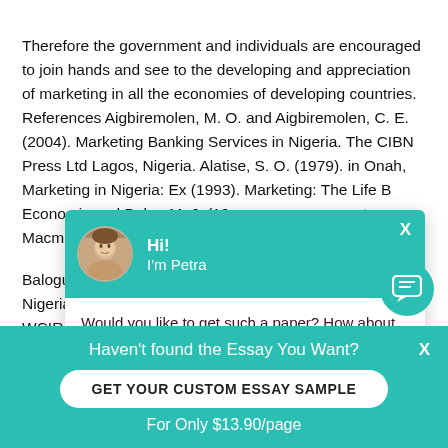Therefore the government and individuals are encouraged to join hands and see to the developing and appreciation of marketing in all the economies of developing countries. References Aigbiremolen, M. O. and Aigbiremolen, C. E. (2004). Marketing Banking Services in Nigeria. The CIBN Press Ltd Lagos, Nigeria. Alatise, S. O. (1979). in Onah, Marketing in Nigeria: Ex... (1993). Marketing: The Life B... Economic and Baker M. J. (19... t. Macmillan Publishers Ltd. Lo...
Balogun, E. D. (2003). In CBN... Nigeria. Proceedings of Cass... WCIR 4SG Macmillan Publishi... The Changing Structure of th... s for Development. Published b...
[Figure (screenshot): Chat popup widget with teal header showing avatar photo and greeting 'Hi! I'm Petra', followed by message 'Would you like to get such a paper? How about receiving a customized one?' and 'Check it out' link.]
[Figure (infographic): Teal bottom banner with text 'Haven't found the Essay You Want?', a white rounded button 'GET YOUR CUSTOM ESSAY SAMPLE', and 'For Only $13.90/page' below.]